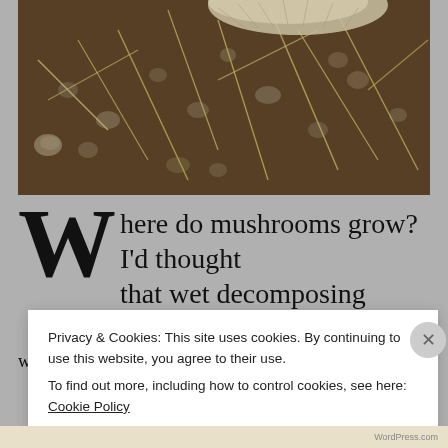[Figure (photo): Close-up photograph of soil with dried grass, small stones/pebbles, and the edge of a mushroom cap visible at top]
Where do mushrooms grow? I'd thought that wet decomposing leaves and
Privacy & Cookies: This site uses cookies. By continuing to use this website, you agree to their use. To find out more, including how to control cookies, see here: Cookie Policy
Close and accept